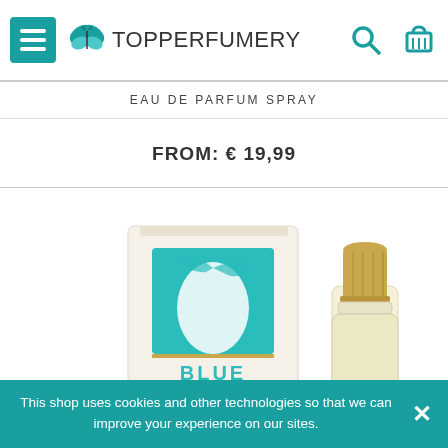TopPerfumery — navigation header with menu, logo, search, and cart icons
EAU DE PARFUM SPRAY
FROM: € 19,99
[Figure (photo): Product photo showing a Blue Grace perfume box (cream/white with teal square logo and flowing woman graphic) next to a perfume bottle with a gold cap, partially cropped at the bottom.]
This shop uses cookies and other technologies so that we can improve your experience on our sites.